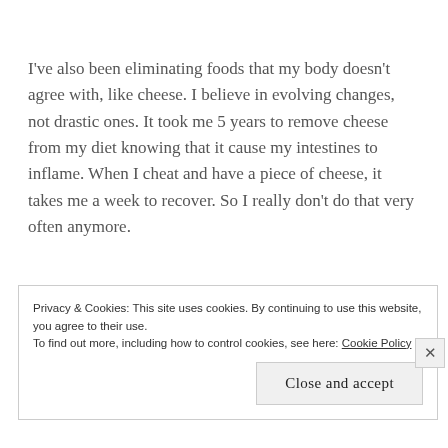I've also been eliminating foods that my body doesn't agree with, like cheese. I believe in evolving changes, not drastic ones. It took me 5 years to remove cheese from my diet knowing that it cause my intestines to inflame. When I cheat and have a piece of cheese, it takes me a week to recover. So I really don't do that very often anymore.
Privacy & Cookies: This site uses cookies. By continuing to use this website, you agree to their use. To find out more, including how to control cookies, see here: Cookie Policy
Close and accept